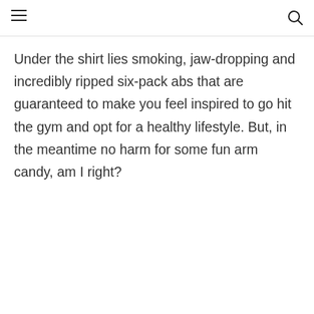Under the shirt lies smoking, jaw-dropping and incredibly ripped six-pack abs that are guaranteed to make you feel inspired to go hit the gym and opt for a healthy lifestyle. But, in the meantime no harm for some fun arm candy, am I right?